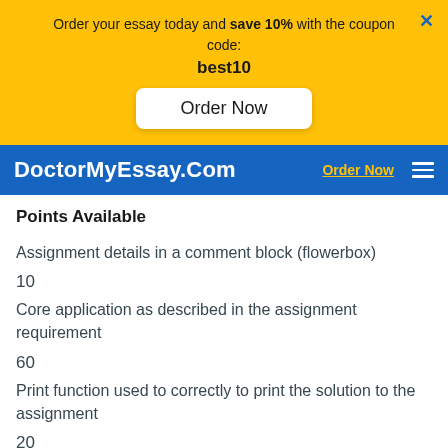Order your essay today and save 10% with the coupon code: best10
Order Now
DoctorMyEssay.Com  Order Now
Points Available
Assignment details in a comment block (flowerbox)
10
Core application as described in the assignment requirement
60
Print function used to correctly to print the solution to the assignment
20